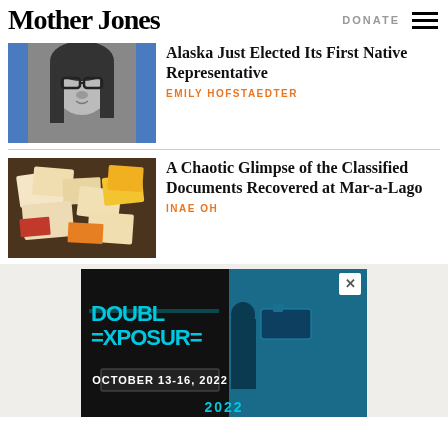Mother Jones | DONATE
[Figure (photo): Black and white photo of a woman with glasses and long dark hair speaking]
Alaska Just Elected Its First Native Representative
EMILY HOFSTAEDTER
[Figure (photo): Color photo of classified documents spread out on a patterned surface]
A Chaotic Glimpse of the Classified Documents Recovered at Mar-a-Lago
INAE OH
[Figure (photo): Advertisement for Double Exposure film festival, October 13-16, 2022, with blue toned imagery of people and camera equipment]